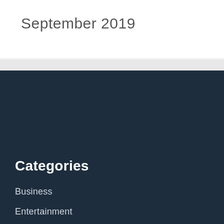September 2019
Categories
Business
Entertainment
Environment
Politics
Science
Sports
Technology
UK